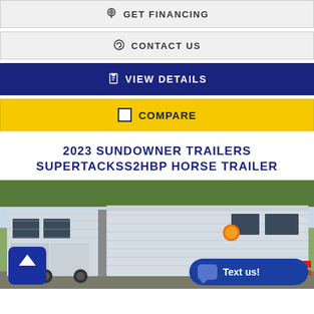GET FINANCING
CONTACT US
VIEW DETAILS
COMPARE
2023 SUNDOWNER TRAILERS SUPERTACKSS2HBP HORSE TRAILER
[Figure (photo): Photo of a silver/white Sundowner horse trailer parked outdoors with trees in background. A blue 'back to top' arrow button is visible at bottom left and a 'Text us!' chat button at bottom right.]